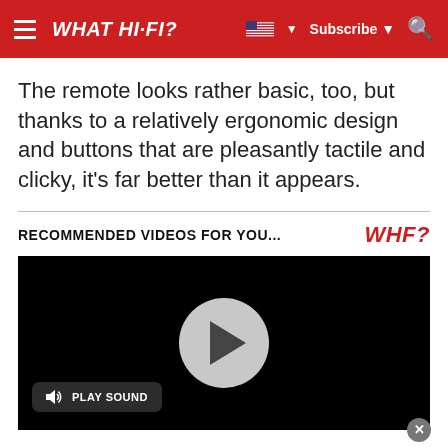WHAT HI-FI?
The remote looks rather basic, too, but thanks to a relatively ergonomic design and buttons that are pleasantly tactile and clicky, it's far better than it appears.
RECOMMENDED VIDEOS FOR YOU...
[Figure (screenshot): Video player with black background, a gray circular play button in the center, and a 'PLAY SOUND' button in the lower left.]